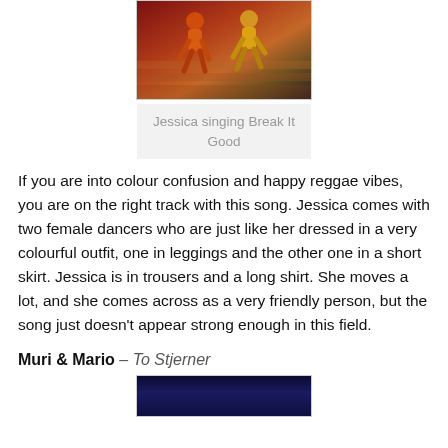[Figure (photo): Two female dancers on stage performing Break It Good, dressed in colourful outfits against a dramatic lit background]
Jessica singing Break It Good
If you are into colour confusion and happy reggae vibes, you are on the right track with this song. Jessica comes with two female dancers who are just like her dressed in a very colourful outfit, one in leggings and the other one in a short skirt. Jessica is in trousers and a long shirt. She moves a lot, and she comes across as a very friendly person, but the song just doesn't appear strong enough in this field.
Muri & Mario – To Stjerner
[Figure (photo): Partial photo of Muri and Mario performing To Stjerner on a dark stage with blue-toned lighting]